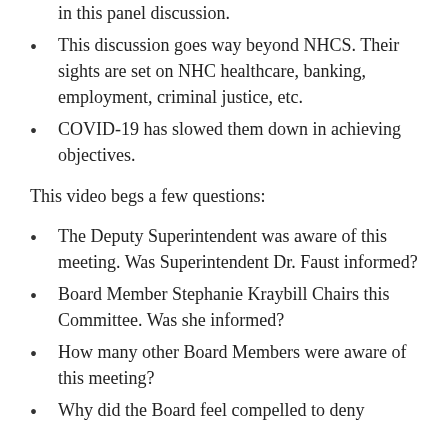in this panel discussion.
This discussion goes way beyond NHCS. Their sights are set on NHC healthcare, banking, employment, criminal justice, etc.
COVID-19 has slowed them down in achieving objectives.
This video begs a few questions:
The Deputy Superintendent was aware of this meeting. Was Superintendent Dr. Faust informed?
Board Member Stephanie Kraybill Chairs this Committee. Was she informed?
How many other Board Members were aware of this meeting?
Why did the Board feel compelled to deny…